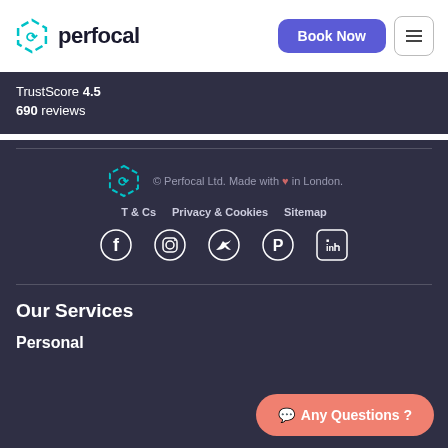perfocal | Book Now | menu
TrustScore 4.5
690 reviews
[Figure (logo): Perfocal teal hexagon logo with arrows]
© Perfocal Ltd. Made with ♥ in London.
T & Cs  Privacy & Cookies  Sitemap
[Figure (infographic): Social media icons: Facebook, Instagram, Twitter, Pinterest, LinkedIn]
Our Services
Personal
💬 Any Questions ?